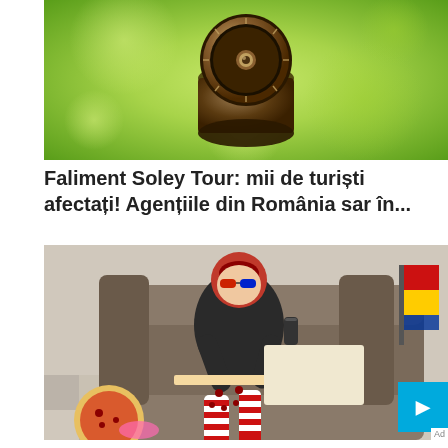[Figure (photo): A combination safe lock dial floating against a blurred green background]
Faliment Soley Tour: mii de turiști afectați! Agențiile din România sar în...
[Figure (photo): A young woman wearing 3D glasses, a leather jacket, and red-and-white striped socks, reclining on a couch with pizza boxes and pizzas around her, holding a drink]